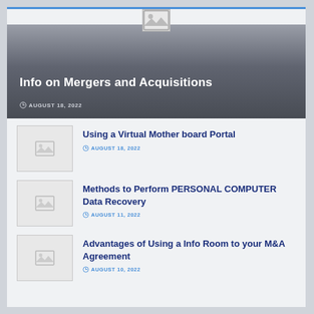[Figure (photo): Hero image placeholder with image icon for 'Info on Mergers and Acquisitions']
Info on Mergers and Acquisitions
AUGUST 18, 2022
[Figure (photo): Thumbnail placeholder for 'Using a Virtual Mother board Portal']
Using a Virtual Mother board Portal
AUGUST 18, 2022
[Figure (photo): Thumbnail placeholder for 'Methods to Perform PERSONAL COMPUTER Data Recovery']
Methods to Perform PERSONAL COMPUTER Data Recovery
AUGUST 11, 2022
[Figure (photo): Thumbnail placeholder for 'Advantages of Using a Info Room to your M&A Agreement']
Advantages of Using a Info Room to your M&A Agreement
AUGUST 10, 2022